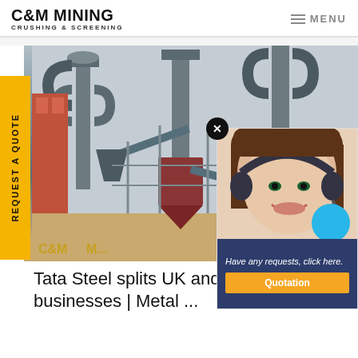C&M MINING CRUSHING & SCREENING | MENU
[Figure (photo): Industrial mining crushing and screening plant with large metal pipes, conveyors, cyclones, and machinery. C&M Mining branded plant exterior.]
[Figure (illustration): Chat support popup with female customer service agent wearing headset, a cyan circle, navy blue background with text 'Have any requests, click here.' and a Quotation button]
REQUEST A QUOTE
Tata Steel splits UK and Nether... businesses | Metal ...